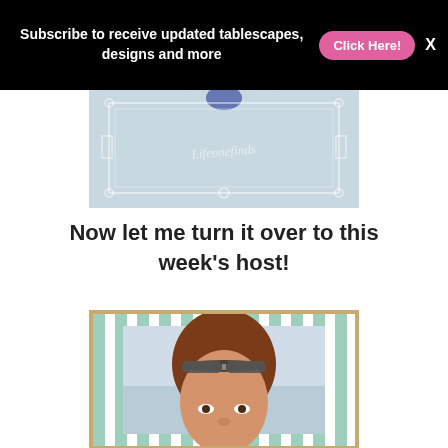Subscribe to receive updated tablescapes, designs and more  Click Here!  X
[Figure (photo): Partial view of a tablescape image with a watermark reading 'Lifeonefinds' on a light blue background with decorative frame elements]
Now let me turn it over to this week's host!
[Figure (photo): Portrait photo of a woman with brown hair and sunglasses on her head, framed with a mint/teal striped decorative border and tan/gold outer frame]